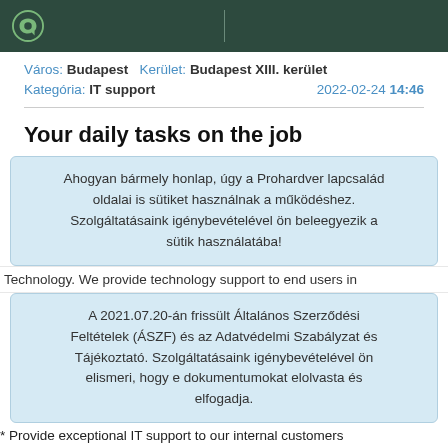Város: Budapest   Kerület: Budapest XIII. kerület
Kategória: IT support    2022-02-24 14:46
Your daily tasks on the job
Ahogyan bármely honlap, úgy a Prohardver lapcsalád oldalai is sütiket használnak a működéshez. Szolgáltatásaink igénybevételével ön beleegyezik a sütik használatába!
Technology. We provide technology support to end users in
A 2021.07.20-án frissült Általános Szerződési Feltételek (ÁSZF) és az Adatvédelmi Szabályzat és Tájékoztató. Szolgáltatásaink igénybevételével ön elismeri, hogy e dokumentumokat elolvasta és elfogadja.
* Provide exceptional IT support to our internal customers